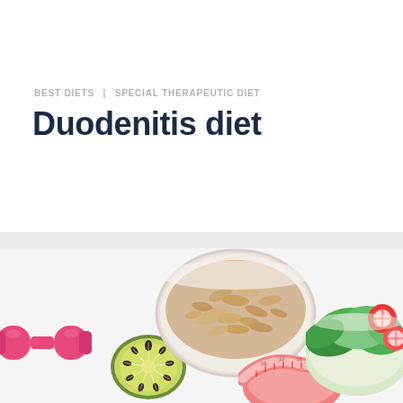BEST DIETS | SPECIAL THERAPEUTIC DIET
Duodenitis diet
[Figure (photo): Health and diet themed flat lay photo showing a pink dumbbell, halved kiwi fruit, a bowl of oats/rolled oats, a pink measuring tape, and a green salad with radish slices on a white background]